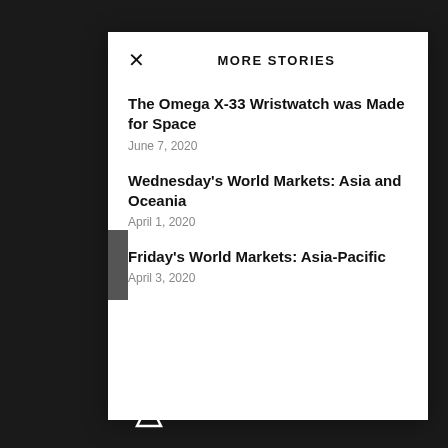MORE STORIES
The Omega X-33 Wristwatch was Made for Space
June 7, 2020
Wednesday's World Markets: Asia and Oceania
April 1, 2020
Friday's World Markets: Asia-Pacific
April 3, 2020
BRIDGE